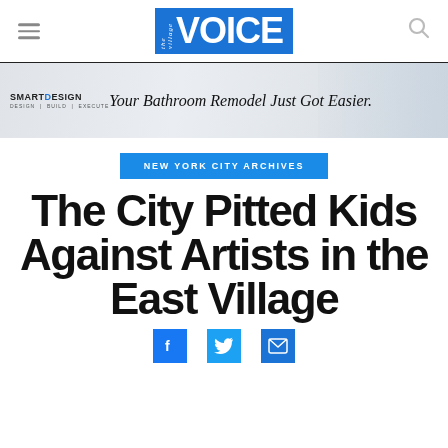the village VOICE
[Figure (illustration): SmartDesign advertisement banner: 'Your Bathroom Remodel Just Got Easier.']
NEW YORK CITY ARCHIVES
The City Pitted Kids Against Artists in the East Village
[Figure (infographic): Social sharing icons: Facebook, Twitter, Email]